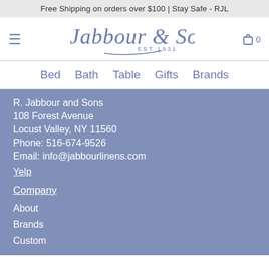Free Shipping on orders over $100 | Stay Safe - RJL
[Figure (logo): R. Jabbour & Sons EST 1931 cursive logo in blue/slate color]
Bed  Bath  Table  Gifts  Brands
R. Jabbour and Sons
108 Forest Avenue
Locust Valley, NY 11560
Phone: 516-674-9526
Email: info@jabbourlinens.com
Yelp
Company
About
Brands
Custom